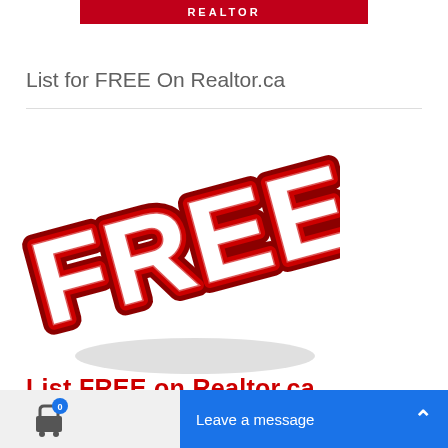REALTOR
List for FREE On Realtor.ca
[Figure (illustration): Bold red 3D sticker-style text reading FREE with white letters and red shadow/outline on white background]
List FREE on Realtor.ca
0  Leave a message